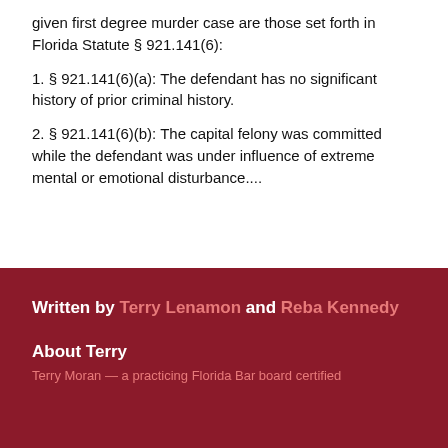given first degree murder case are those set forth in Florida Statute § 921.141(6):
1. § 921.141(6)(a): The defendant has no significant history of prior criminal history.
2. § 921.141(6)(b): The capital felony was committed while the defendant was under influence of extreme mental or emotional disturbance....
Written by Terry Lenamon and Reba Kennedy
About Terry
Terry Moran — a practicing Florida Bar board certified...